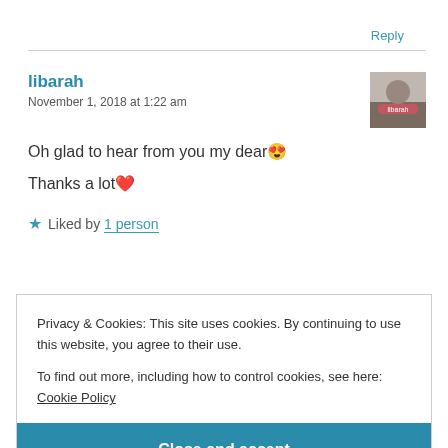Reply
libarah
November 1, 2018 at 1:22 am
Oh glad to hear from you my dear😍
Thanks a lot❤
★ Liked by 1 person
Privacy & Cookies: This site uses cookies. By continuing to use this website, you agree to their use.
To find out more, including how to control cookies, see here: Cookie Policy
Close and accept
wow cool idea!